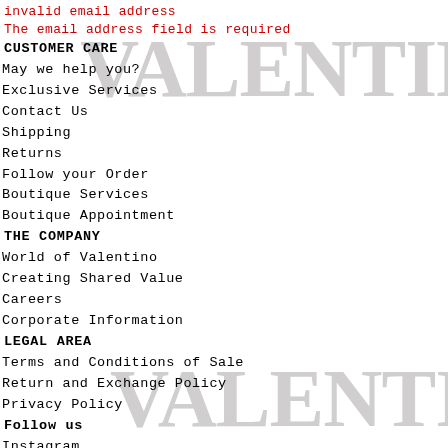invalid email address
The email address field is required
CUSTOMER CARE
May we help you?
Exclusive Services
Contact Us
Shipping
Returns
Follow your Order
Boutique Services
Boutique Appointment
THE COMPANY
World of Valentino
Creating Shared Value
Careers
Corporate Information
LEGAL AREA
Terms and Conditions of Sale
Return and Exchange Policy
Privacy Policy
Follow us
Instagram
Facebook
Twitter
[Figure (logo): VALENTINO large watermark logo in light gray, appearing twice as background decorative elements]